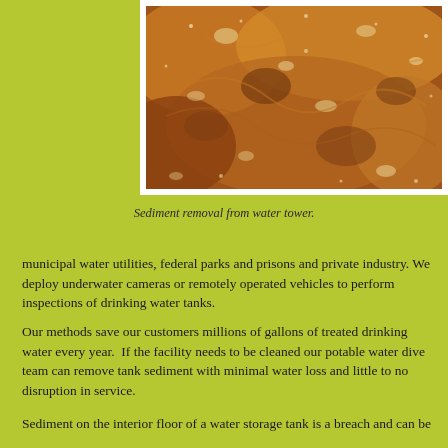[Figure (photo): Close-up photo of brown/rust-colored sediment removed from a water tower, showing grainy texture with some glistening particles.]
Sediment removal from water tower.
municipal water utilities, federal parks and prisons and private industry. We deploy underwater cameras or remotely operated vehicles to perform inspections of drinking water tanks.
Our methods save our customers millions of gallons of treated drinking water every year.  If the facility needs to be cleaned our potable water dive team can remove tank sediment with minimal water loss and little to no disruption in service.
Sediment on the interior floor of a water storage tank is a breach and can be